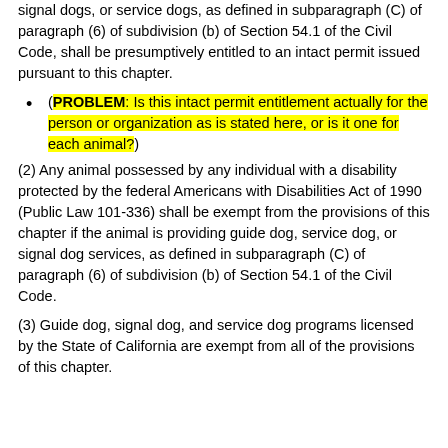signal dogs, or service dogs, as defined in subparagraph (C) of paragraph (6) of subdivision (b) of Section 54.1 of the Civil Code, shall be presumptively entitled to an intact permit issued pursuant to this chapter.
(PROBLEM: Is this intact permit entitlement actually for the person or organization as is stated here, or is it one for each animal?)
(2) Any animal possessed by any individual with a disability protected by the federal Americans with Disabilities Act of 1990 (Public Law 101-336) shall be exempt from the provisions of this chapter if the animal is providing guide dog, service dog, or signal dog services, as defined in subparagraph (C) of paragraph (6) of subdivision (b) of Section 54.1 of the Civil Code.
(3) Guide dog, signal dog, and service dog programs licensed by the State of California are exempt from all of the provisions of this chapter.